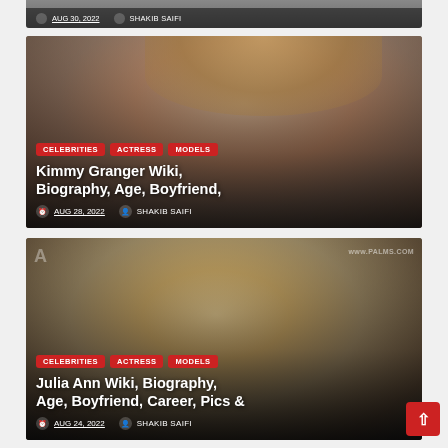[Figure (photo): Top partial strip of a previous article card (cropped, barely visible)]
[Figure (photo): Photo of Kimmy Granger, blonde woman, used as article card background image]
CELEBRITIES · ACTRESS · MODELS
Kimmy Granger Wiki, Biography, Age, Boyfriend,
AUG 28, 2022  SHAKIB SAIFI
[Figure (photo): Photo of Julia Ann, blonde woman at an event with 'www.palms.com' text visible in background, used as article card background]
CELEBRITIES · ACTRESS · MODELS
Julia Ann Wiki, Biography, Age, Boyfriend, Career, Pics &
AUG 24, 2022  SHAKIB SAIFI